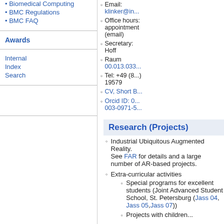Biomedical Computing
BMC Regulations
BMC FAQ
Awards
Internal
Index
Search
Email: klinker@in...
Office hours: appointment (email)
Secretary: Hoff
Raum 00.013.033...
Tel: +49 (89...) 19579
CV, Short B...
Orcid ID: 0003-0971-5...
Research (Projects)
Industrial Ubiquitous Augmented Reality. See FAR for details and a large number of AR-based projects.
Extra-curricular activities
Special programs for excellent students (Joint Advanced Student School, St. Petersburg (Jass 04, Jass 05, Jass 07))
Projects with children...